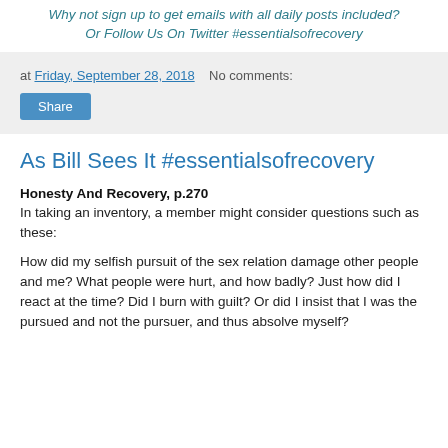Why not sign up to get emails with all daily posts included?
Or Follow Us On Twitter #essentialsofrecovery
at Friday, September 28, 2018   No comments:
Share
As Bill Sees It #essentialsofrecovery
Honesty And Recovery, p.270
In taking an inventory, a member might consider questions such as these:
How did my selfish pursuit of the sex relation damage other people and me? What people were hurt, and how badly? Just how did I react at the time? Did I burn with guilt? Or did I insist that I was the pursued and not the pursuer, and thus absolve myself?